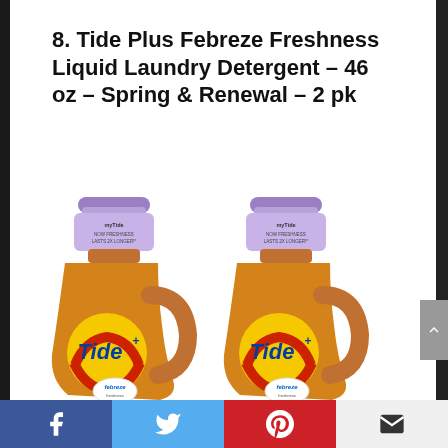8. Tide Plus Febreze Freshness Liquid Laundry Detergent – 46 oz – Spring & Renewal – 2 pk
[Figure (photo): Two bottles of Tide Plus Febreze Freshness Liquid Laundry Detergent, Spring & Renewal scent, 46 oz each, shown side by side. Bottles are orange/gold with purple caps and Tide logo with Febreze branding.]